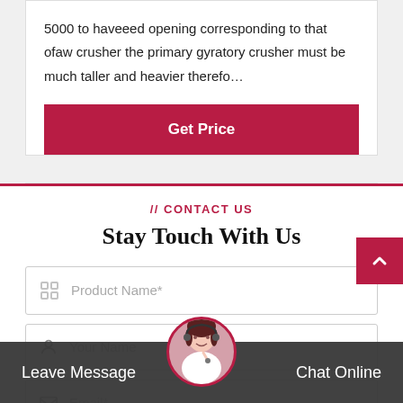5000 to haveeed opening corresponding to that ofaw crusher the primary gyratory crusher must be much taller and heavier therefo…
Get Price
// CONTACT US
Stay Touch With Us
Product Name*
Your Name
Email*
Leave Message
Chat Online